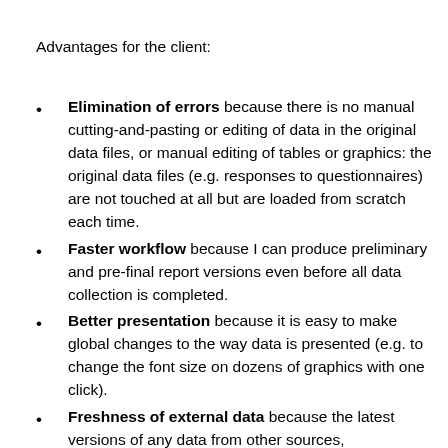Advantages for the client:
Elimination of errors because there is no manual cutting-and-pasting or editing of data in the original data files, or manual editing of tables or graphics: the original data files (e.g. responses to questionnaires) are not touched at all but are loaded from scratch each time.
Faster workflow because I can produce preliminary and pre-final report versions even before all data collection is completed.
Better presentation because it is easy to make global changes to the way data is presented (e.g. to change the font size on dozens of graphics with one click).
Freshness of external data because the latest versions of any data from other sources,